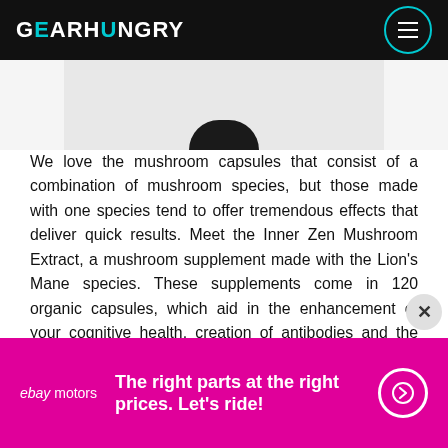GEARHUNGRY
[Figure (photo): Product image of a dark bottle (mushroom supplement) partially visible at top of a white/light grey card]
We love the mushroom capsules that consist of a combination of mushroom species, but those made with one species tend to offer tremendous effects that deliver quick results. Meet the Inner Zen Mushroom Extract, a mushroom supplement made with the Lion's Mane species. These supplements come in 120 organic capsules, which aid in the enhancement of your cognitive health, creation of antibodies and the improvement of your mental focus. The Inner Zen supplements are used in both
[Figure (advertisement): eBay Motors advertisement banner with magenta/hot-pink background. Text reads: 'The right parts at the right prices. Let's ride!' with a right-arrow circle button.]